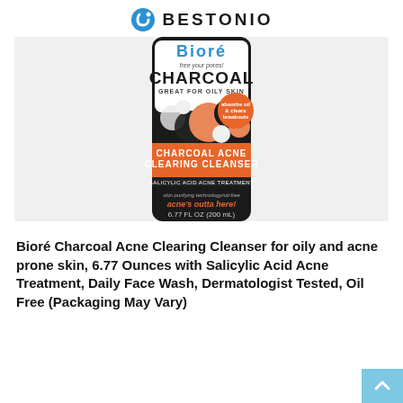BESTONIO
[Figure (photo): Bioré Charcoal Acne Clearing Cleanser bottle product photo showing charcoal acne clearing cleanser with salicylic acid acne treatment, 6.77 FL OZ (200 mL), for oily skin]
Bioré Charcoal Acne Clearing Cleanser for oily and acne prone skin, 6.77 Ounces with Salicylic Acid Acne Treatment, Daily Face Wash, Dermatologist Tested, Oil Free (Packaging May Vary)